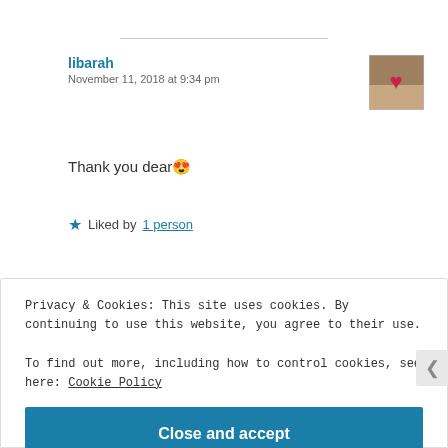libarah
November 11, 2018 at 9:34 pm
[Figure (photo): User avatar image with heart design]
Thank you dear 😍
★ Liked by 1 person
Reply
Privacy & Cookies: This site uses cookies. By continuing to use this website, you agree to their use.
To find out more, including how to control cookies, see here: Cookie Policy
Close and accept